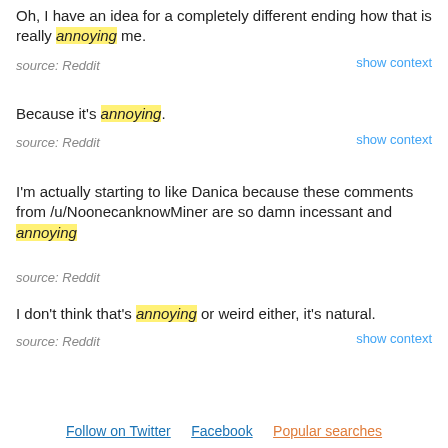Oh, I have an idea for a completely different ending how that is really annoying me.
source: Reddit
show context
Because it's annoying.
source: Reddit
show context
I'm actually starting to like Danica because these comments from /u/NoonecanknowMiner are so damn incessant and annoying
source: Reddit
I don't think that's annoying or weird either, it's natural.
source: Reddit
show context
Follow on Twitter   Facebook   Popular searches